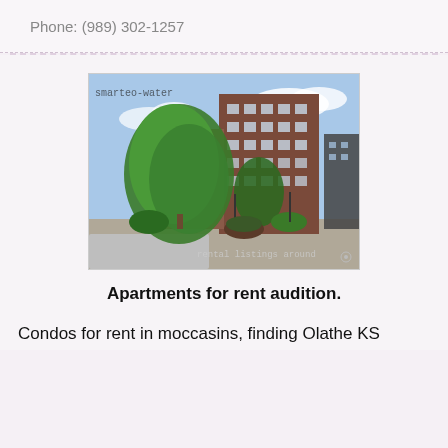Phone: (989) 302-1257
[Figure (photo): Exterior photo of a large brick apartment building with tall trees in front, watermark text 'smarteo-water' at top left and 'rental listings around' at bottom right.]
Apartments for rent audition.
Condos for rent in moccasins, finding Olathe KS